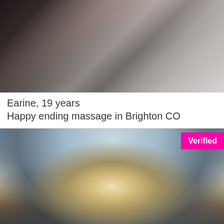[Figure (photo): Close-up photo showing legs in black stockings against a light background]
Earine, 19 years
Happy ending massage in Brighton CO
[Figure (photo): Photo of a blonde woman smiling, outdoors near a building with railings, with a Verified badge in the top right corner]